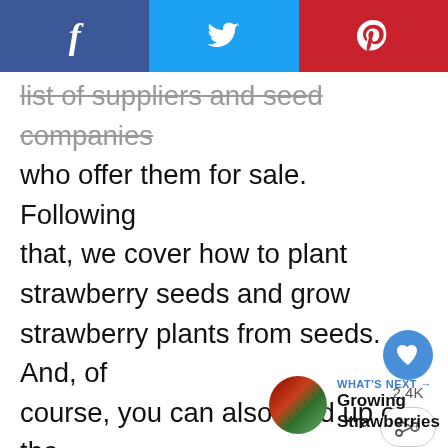[Figure (other): Social sharing bar with Facebook (blue), Twitter (light blue), and Pinterest (red) buttons across the top]
list of suppliers and seed companies who offer them for sale. Following that, we cover how to plant strawberry seeds and grow strawberry plants from seeds. And, of course, you can also read up on the fascinating details and information regarding strawberry seeds and what makes them unique.
[Figure (other): Heart/like button showing 2.4K likes and a share button]
[Figure (other): What's Next panel with strawberry thumbnail image linking to Growing Strawberries]